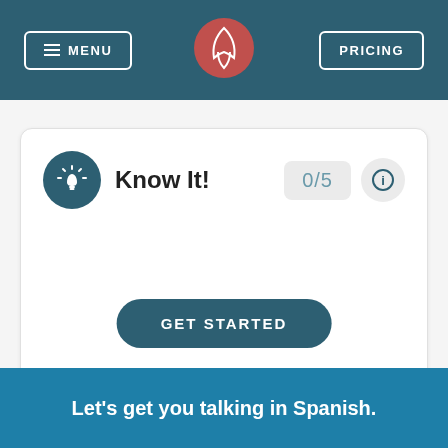MENU   [logo]   PRICING
[Figure (screenshot): Know It! flashcard activity card with a lightbulb icon, score display 0/5, info button, and GET STARTED button]
Let's get you talking in Spanish.